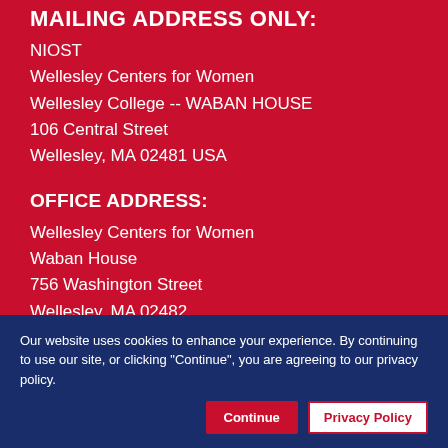MAILING ADDRESS ONLY:
NIOST
Wellesley Centers for Women
Wellesley College -- WABAN HOUSE
106 Central Street
Wellesley, MA 02481 USA
OFFICE ADDRESS:
Wellesley Centers for Women
Waban House
756 Washington Street
Wellesley, MA 02482
Our website uses cookies to enhance your experience. By continuing to use our site, or clicking "Continue", you are agreeing to our privacy policy.